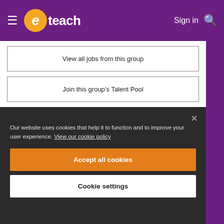eteach — Sign in
View all jobs from this group
Join this group's Talent Pool
View group's career site
Our website uses cookies that help it to function and to improve your user experience. View our cookie policy
Accept all cookies
Cookie settings